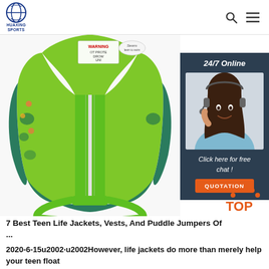HUAXING SPORTS
[Figure (photo): Green children's life jacket/swimming vest with white zipper, warning label, and crotch strap, displayed on white background]
[Figure (infographic): 24/7 Online chat widget with photo of female customer service representative wearing headset, 'Click here for free chat!' text, and orange QUOTATION button]
[Figure (logo): TOP logo with orange dots forming an arch above the word TOP in orange]
7 Best Teen Life Jackets, Vests, And Puddle Jumpers Of ...
2020-6-15u2002·u2002However, life jackets do more than merely help your teen float